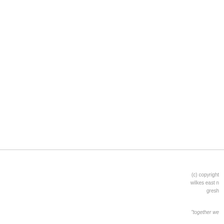(c) copyright 
wilkes east n
gresh
"together we